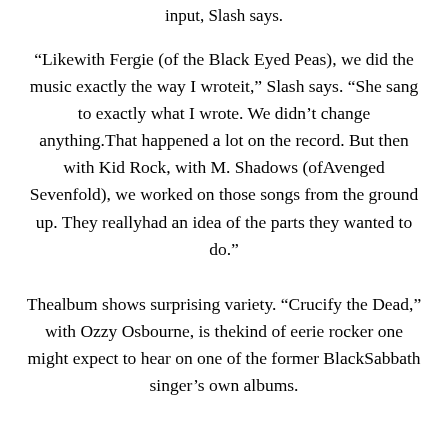input, Slash says.
“Likewith Fergie (of the Black Eyed Peas), we did the music exactly the way I wroteit,” Slash says. “She sang to exactly what I wrote. We didn’t change anything.That happened a lot on the record. But then with Kid Rock, with M. Shadows (ofAvenged Sevenfold), we worked on those songs from the ground up. They reallyhad an idea of the parts they wanted to do.”
Thealbum shows surprising variety. “Crucify the Dead,” with Ozzy Osbourne, is thekind of eerie rocker one might expect to hear on one of the former BlackSabbath singer’s own albums.